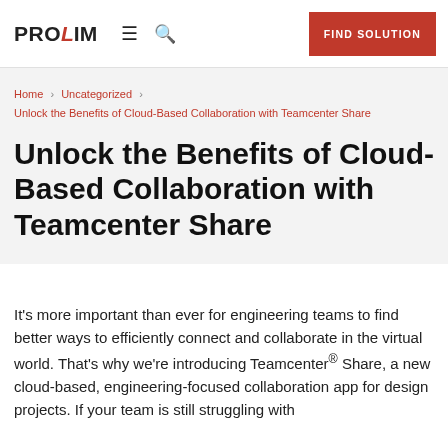PROLIM   ≡   🔍   FIND SOLUTION
Home › Uncategorized › Unlock the Benefits of Cloud-Based Collaboration with Teamcenter Share
Unlock the Benefits of Cloud-Based Collaboration with Teamcenter Share
It's more important than ever for engineering teams to find better ways to efficiently connect and collaborate in the virtual world. That's why we're introducing Teamcenter® Share, a new cloud-based, engineering-focused collaboration app for design projects. If your team is still struggling with